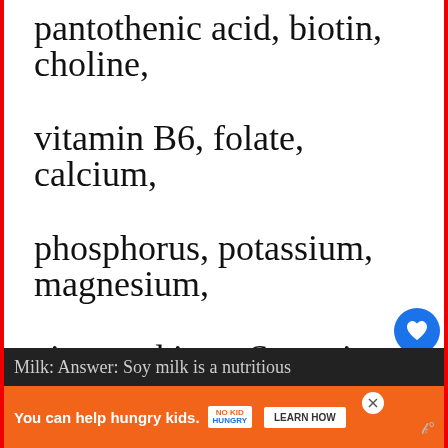pantothenic acid, biotin, choline, vitamin B6, folate, calcium, phosphorus, potassium, magnesium, zinc, and iron. Sugar is added to whole milk to improve taste and texture. Soy Milk: Answer: Soy milk is a nutritious
[Figure (screenshot): UI overlay with heart (favorite) button in blue circle and share button in gray circle]
[Figure (screenshot): What's Next widget showing 'What does it mean when...' article preview]
[Figure (screenshot): Orange advertisement banner: 'You can help hungry kids. NO KID HUNGRY LEARN HOW']